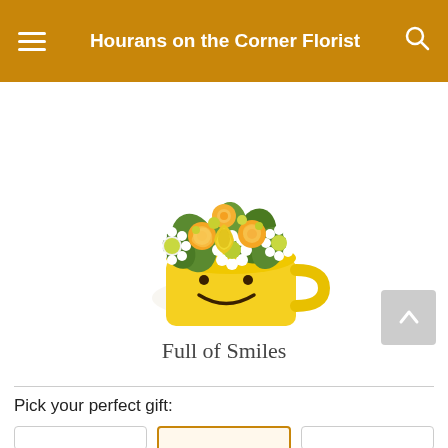Hourans on the Corner Florist
[Figure (photo): A yellow smiley face mug filled with a cheerful flower arrangement of yellow roses, white daisies, yellow carnations, and green accents on a white background.]
Full of Smiles
Pick your perfect gift: